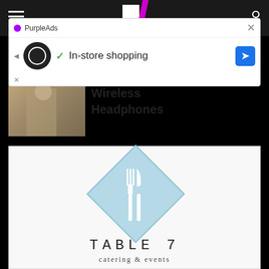[Figure (screenshot): Mobile browser top navigation bar with hamburger menu, partial website logo (T with purple slash), and search icon on dark background]
[Figure (screenshot): PurpleAds advertisement overlay showing in-store shopping ad with circular logo, checkmark, text 'In-store shopping', blue navigation arrow, and close button]
Wireless Headphones
[Figure (logo): Table 7 catering & events logo featuring a light blue diamond shape with white fork and knife silhouettes, text 'TABLE 7' in spaced uppercase letters and 'catering & events' below]